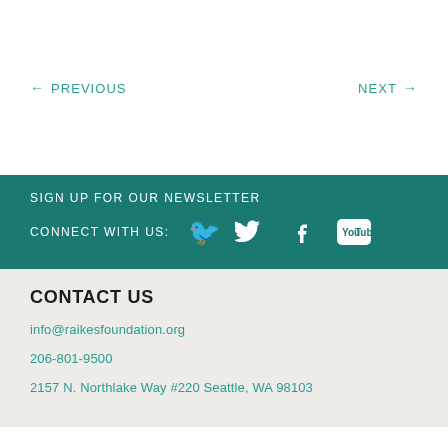← PREVIOUS
NEXT →
SIGN UP FOR OUR NEWSLETTER
CONNECT WITH US:
CONTACT US
info@raikesfoundation.org
206-801-9500
2157 N. Northlake Way #220 Seattle, WA 98103